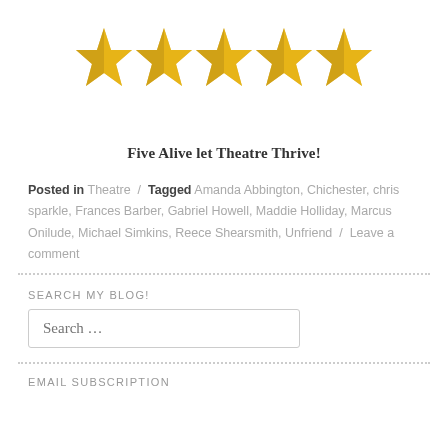[Figure (illustration): Five gold 3D stars in a row on white background]
Five Alive let Theatre Thrive!
Posted in Theatre / Tagged Amanda Abbington, Chichester, chris sparkle, Frances Barber, Gabriel Howell, Maddie Holliday, Marcus Onilude, Michael Simkins, Reece Shearsmith, Unfriend / Leave a comment
SEARCH MY BLOG!
Search …
EMAIL SUBSCRIPTION